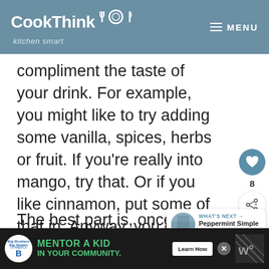CookThink kitchen smart MENU
compliment the taste of your drink. For example, you might like to try adding some vanilla, spices, herbs or fruit. If you're really into mango, try that. Or if you like cinnamon, put some of that in. Anyway, you can see where this is going.
The best part is, once you ha... created your homemade simple
[Figure (other): WHAT'S NEXT arrow label with Peppermint Simple Syrup thumbnail card]
[Figure (other): Advertisement banner: Big Brothers Big Sisters - MENTOR A KID IN YOUR COMMUNITY. Learn How button.]